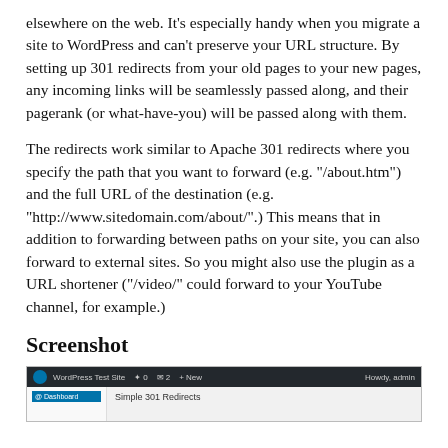elsewhere on the web. It's especially handy when you migrate a site to WordPress and can't preserve your URL structure. By setting up 301 redirects from your old pages to your new pages, any incoming links will be seamlessly passed along, and their pagerank (or what-have-you) will be passed along with them.
The redirects work similar to Apache 301 redirects where you specify the path that you want to forward (e.g. "/about.htm") and the full URL of the destination (e.g. "http://www.sitedomain.com/about/".) This means that in addition to forwarding between paths on your site, you can also forward to external sites. So you might also use the plugin as a URL shortener ("/video/" could forward to your YouTube channel, for example.)
Screenshot
[Figure (screenshot): Screenshot of WordPress admin dashboard showing Simple 301 Redirects plugin page with WordPress admin bar at top]